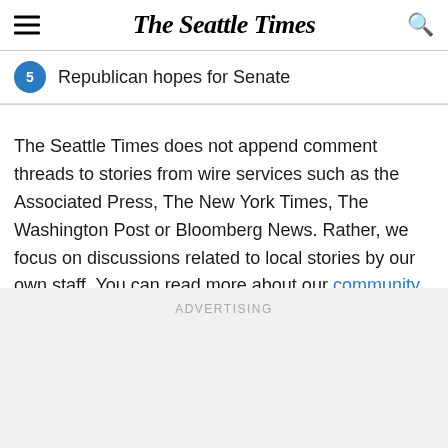The Seattle Times
Republican hopes for Senate
The Seattle Times does not append comment threads to stories from wire services such as the Associated Press, The New York Times, The Washington Post or Bloomberg News. Rather, we focus on discussions related to local stories by our own staff. You can read more about our community policies here.
ADVERTISING